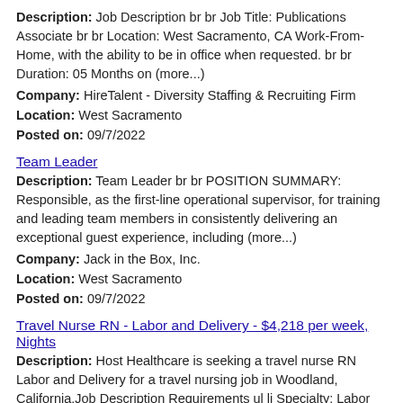Description: Job Description br br Job Title: Publications Associate br br Location: West Sacramento, CA Work-From-Home, with the ability to be in office when requested. br br Duration: 05 Months on (more...)
Company: HireTalent - Diversity Staffing & Recruiting Firm
Location: West Sacramento
Posted on: 09/7/2022
Team Leader
Description: Team Leader br br POSITION SUMMARY: Responsible, as the first-line operational supervisor, for training and leading team members in consistently delivering an exceptional guest experience, including (more...)
Company: Jack in the Box, Inc.
Location: West Sacramento
Posted on: 09/7/2022
Travel Nurse RN - Labor and Delivery - $4,218 per week, Nights
Description: Host Healthcare is seeking a travel nurse RN Labor and Delivery for a travel nursing job in Woodland, California.Job Description Requirements ul li Specialty: Labor and Delivery li Discipline: (more...)
Company: Host Healthcare